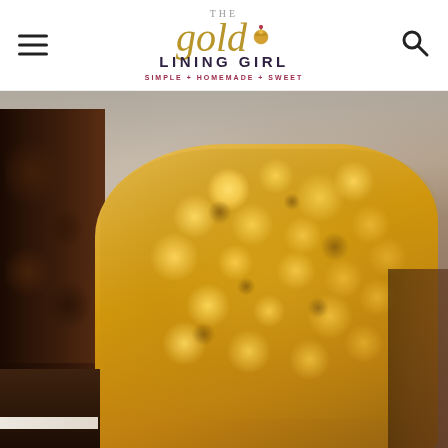[Figure (logo): The Gold Lining Girl logo — script gold text 'gold' with cupcake icon, 'LINING GIRL' in bold uppercase, tagline 'SIMPLE + HOMEMADE + SWEET' in maroon, flanked by hamburger menu icon and search icon]
[Figure (photo): Close-up food photo of stacked brownie bars topped with a golden crispy rice krispie or crumble topping, showing the chocolate brownie base on the left and the golden crumble on top, on a wooden surface with blurred background]